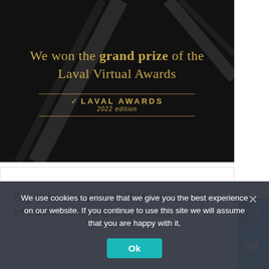[Figure (photo): Dark banner with gold text announcing winning the grand prize of the Laval Virtual Awards 2022 edition, with the Laval Awards logo]
Big Wins for AVATAR MEDICAL™ at Laval Virtual Europe 2022!
[Figure (photo): Medical imaging scan showing an orange/red anatomical structure (likely a heart or organ) against a dark background with grayscale scan imagery]
We use cookies to ensure that we give you the best experience on our website. If you continue to use this site we will assume that you are happy with it.